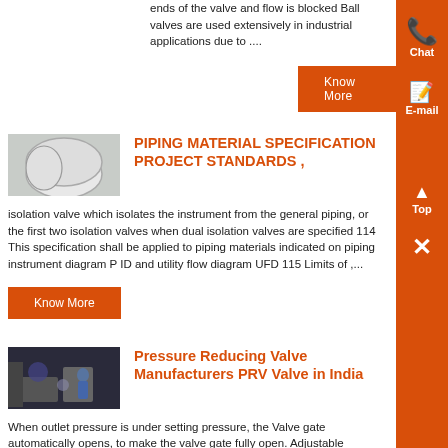ends of the valve and flow is blocked Ball valves are used extensively in industrial applications due to ....
Know More
[Figure (photo): Industrial piping elbow fittings, white curved pipe sections in a workshop]
PIPING MATERIAL SPECIFICATION PROJECT STANDARDS ,
isolation valve which isolates the instrument from the general piping, or the first two isolation valves when dual isolation valves are specified 114 This specification shall be applied to piping materials indicated on piping instrument diagram P ID and utility flow diagram UFD 115 Limits of ,...
Know More
[Figure (photo): Worker in blue uniform working on industrial equipment in a dark workshop]
Pressure Reducing Valve Manufacturers PRV Valve in India
When outlet pressure is under setting pressure, the Valve gate automatically opens, to make the valve gate fully open. Adjustable pressure range and setting pressure are